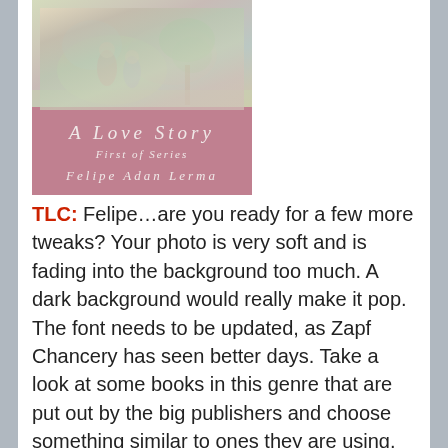[Figure (illustration): A book cover for 'A Love Story, First of Series' by Felipe Adan Lerma. The top half shows a soft pastel illustration of figures in a garden or landscape setting. The bottom half has a rose/mauve pink background with white italic text showing the title, subtitle, and author name.]
TLC: Felipe…are you ready for a few more tweaks? Your photo is very soft and is fading into the background too much. A dark background would really make it pop. The font needs to be updated, as Zapf Chancery has seen better days. Take a look at some books in this genre that are put out by the big publishers and choose something similar to ones they are using. Your potential buyers will appreciate that! At the bottom, the white text blends with the pink background. If you go with a darker background, you could leave it white. I would